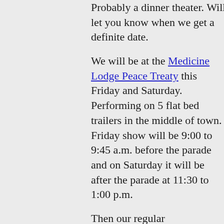Probably a dinner theater. Will let you know when we get a definite date.
We will be at the Medicine Lodge Peace Treaty this Friday and Saturday. Performing on 5 flat bed trailers in the middle of town. Friday show will be 9:00 to 9:45 a.m. before the parade and on Saturday it will be after the parade at 11:30 to 1:00 p.m.
Then our regular